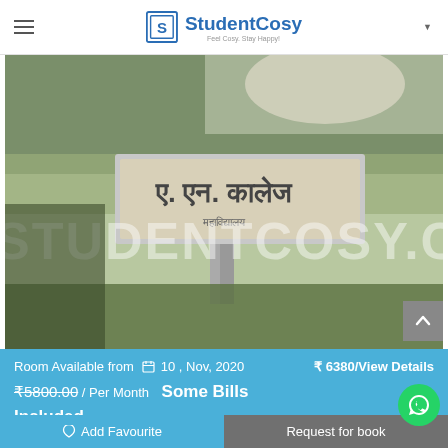StudentCosy — Feel Cosy. Stay Happy!
[Figure (photo): Photo of a college sign board in Hindi script reading P.N. College, with trees and sky in background. Watermarked with STUDENTCOSY.CO text overlay.]
Room Available from 📅 10 , Nov, 2020
₹5800.00 / Per Month   Some Bills Included
₹ 6380/View Details
Add Favourite
Request for book